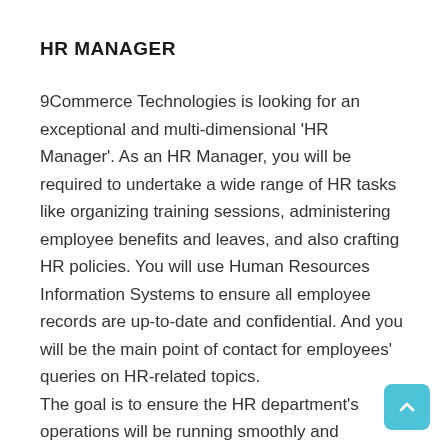HR MANAGER
9Commerce Technologies is looking for an exceptional and multi-dimensional 'HR Manager'. As an HR Manager, you will be required to undertake a wide range of HR tasks like organizing training sessions, administering employee benefits and leaves, and also crafting HR policies. You will use Human Resources Information Systems to ensure all employee records are up-to-date and confidential. And you will be the main point of contact for employees' queries on HR-related topics.
The goal is to ensure the HR department's operations will be running smoothly and effectively to deliver maximum value to the